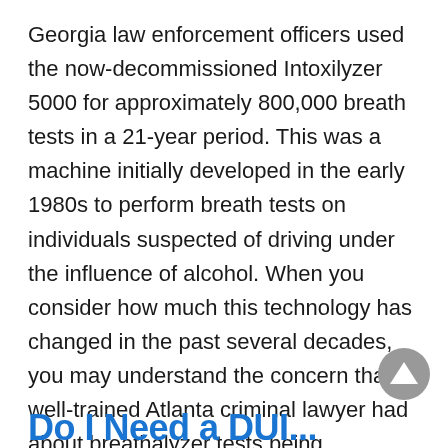Georgia law enforcement officers used the now-decommissioned Intoxilyzer 5000 for approximately 800,000 breath tests in a 21-year period. This was a machine initially developed in the early 1980s to perform breath tests on individuals suspected of driving under the influence of alcohol. When you consider how much this technology has changed in the past several decades, you may understand the concern that a well-trained Atlanta criminal lawyer had about breathalyzer tests being conducted on a device that uses the same type of Z-80 processor that was used to power the “Pong” game.
Do I Need a DUI...